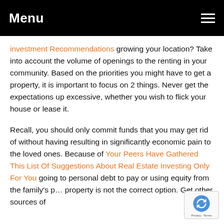Menu
investment Recommendations growing your location? Take into account the volume of openings to the renting in your community. Based on the priorities you might have to get a property, it is important to focus on 2 things. Never get the expectations up excessive, whether you wish to flick your house or lease it.
Recall, you should only commit funds that you may get rid of without having resulting in significantly economic pain to the loved ones. Because of Your Peers Have Gathered This List Of Suggestions About Real Estate Investing Only For You going to personal debt to pay or using equity from the family's p… property is not the correct option. Get other sources of